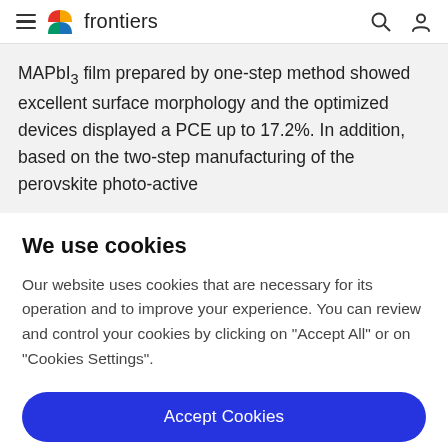frontiers
MAPbI₃ film prepared by one-step method showed excellent surface morphology and the optimized devices displayed a PCE up to 17.2%. In addition, based on the two-step manufacturing of the perovskite photo-active
We use cookies
Our website uses cookies that are necessary for its operation and to improve your experience. You can review and control your cookies by clicking on "Accept All" or on "Cookies Settings".
Accept Cookies
Cookies Settings